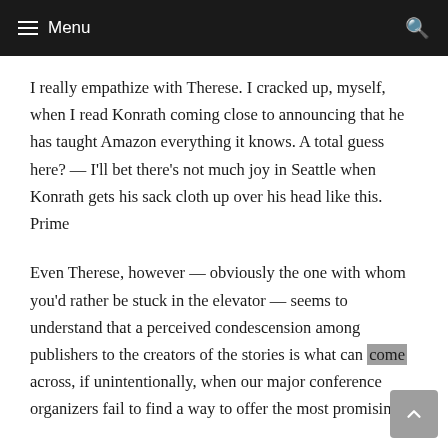≡ Menu  🔍
I really empathize with Therese. I cracked up, myself, when I read Konrath coming close to announcing that he has taught Amazon everything it knows. A total guess here? — I'll bet there's not much joy in Seattle when Konrath gets his sack cloth up over his head like this. Prime
Even Therese, however — obviously the one with whom you'd rather be stuck in the elevator — seems to understand that a perceived condescension among publishers to the creators of the stories is what can come across, if unintentionally, when our major conference organizers fail to find a way to offer the most promising,